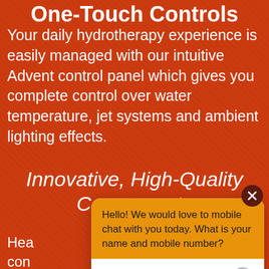One-Touch Controls
Your daily hydrotherapy experience is easily managed with our intuitive Advent control panel which gives you complete control over water temperature, jet systems and ambient lighting effects.
Innovative, High-Quality Components
Hea... con... mo... last...
[Figure (screenshot): Chat popup overlay with orange header saying 'Hello! We would love to mobile chat with you today. What is your name and mobile number?' and a white input area with placeholder 'Write your message...' and a send button. A dark red close button (X) is in the top-right corner of the popup.]